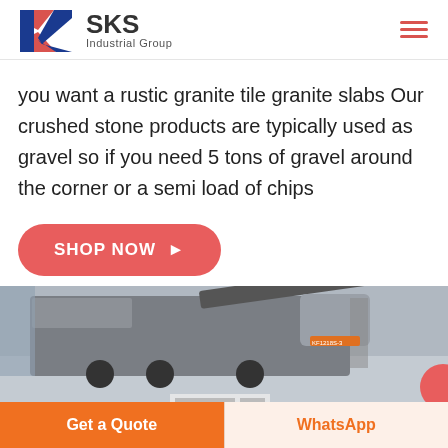[Figure (logo): SKS Industrial Group logo with red and blue K lettermark and bold SKS text]
you want a rustic granite tile granite slabs Our crushed stone products are typically used as gravel so if you need 5 tons of gravel around the corner or a semi load of chips
SHOP NOW →
[Figure (photo): Industrial machinery/stone crusher equipment inside a factory floor]
Get a Quote
WhatsApp